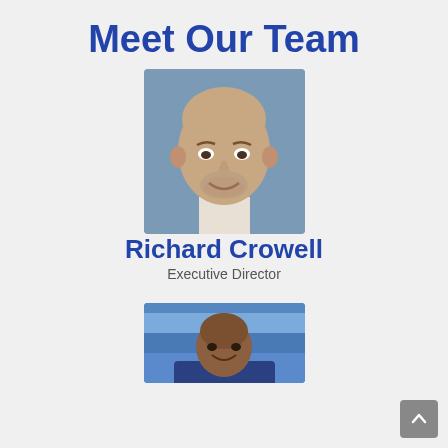Meet Our Team
[Figure (photo): Headshot of Richard Crowell, a bald man smiling, against a blue-grey background]
Richard Crowell
Executive Director
[Figure (photo): Partial headshot of a second team member, smiling man, visible from shoulders up, against a blue gym/court background]